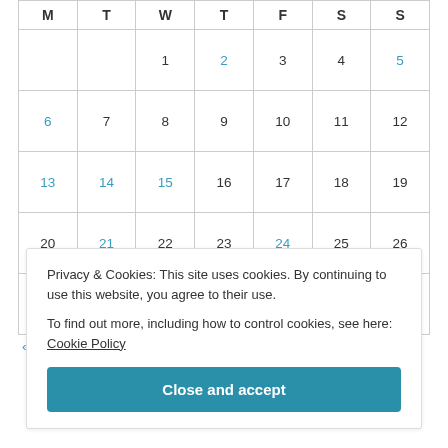| M | T | W | T | F | S | S |
| --- | --- | --- | --- | --- | --- | --- |
|  |  | 1 | 2 | 3 | 4 | 5 |
| 6 | 7 | 8 | 9 | 10 | 11 | 12 |
| 13 | 14 | 15 | 16 | 17 | 18 | 19 |
| 20 | 21 | 22 | 23 | 24 | 25 | 26 |
| 27 | 28 | 29 | 30 |  |  |  |
« Mar   May »
Privacy & Cookies: This site uses cookies. By continuing to use this website, you agree to their use.
To find out more, including how to control cookies, see here: Cookie Policy
Close and accept